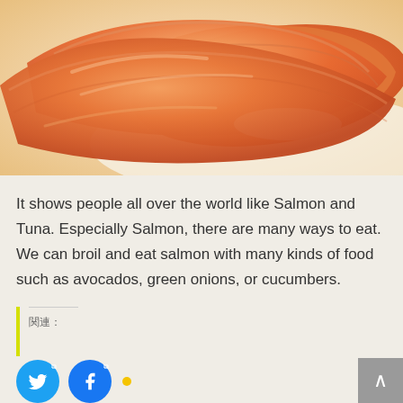[Figure (photo): Close-up photo of salmon nigiri sushi pieces on a white plate, showing orange-pink salmon slices over rice with soft focus background]
It shows people all over the world like Salmon and Tuna. Especially Salmon, there are many ways to eat. We can broil and eat salmon with many kinds of food such as avocados, green onions, or cucumbers.
関連:
[Figure (other): Twitter share button (blue circle with bird icon and external link icon) and Facebook share button (blue circle with f icon and external link icon), followed by a small yellow dot]